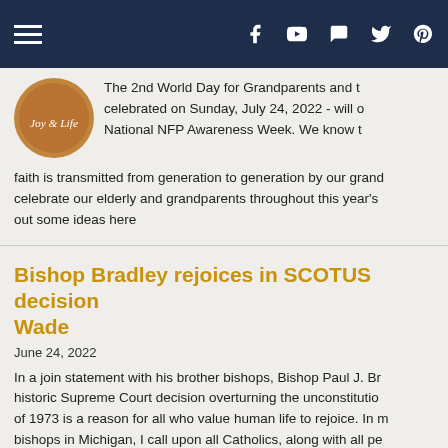Navigation header with hamburger menu and social icons (Facebook, YouTube, chat, Twitter, Pinterest)
The 2nd World Day for Grandparents and the Elderly - celebrated on Sunday, July 24, 2022 - will overlap with National NFP Awareness Week. We know that faith is transmitted from generation to generation by our grandparents... celebrate our elderly and grandparents throughout this year's... out some ideas here
Bishop Bradley rejoices in SCOTUS decision overturning Roe v. Wade
June 24, 2022
In a join statement with his brother bishops, Bishop Paul J. Bradley... historic Supreme Court decision overturning the unconstitutional... of 1973 is a reason for all who value human life to rejoice. In my role as bishops in Michigan, I call upon all Catholics, along with all people of life, to prayerfully reflect on the significance of this decision.